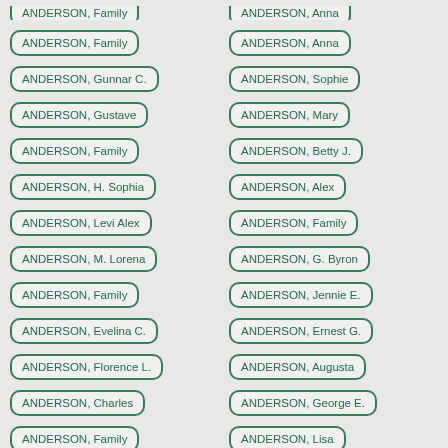ANDERSON, Family
ANDERSON, Anna
ANDERSON, Gunnar C.
ANDERSON, Sophie
ANDERSON, Gustave
ANDERSON, Mary
ANDERSON, Family
ANDERSON, Betty J.
ANDERSON, H. Sophia
ANDERSON, Alex
ANDERSON, Levi Alex
ANDERSON, Family
ANDERSON, M. Lorena
ANDERSON, G. Byron
ANDERSON, Family
ANDERSON, Jennie E.
ANDERSON, Evelina C.
ANDERSON, Ernest G.
ANDERSON, Florence L.
ANDERSON, Augusta
ANDERSON, Charles
ANDERSON, George E.
ANDERSON, Family
ANDERSON, Lisa